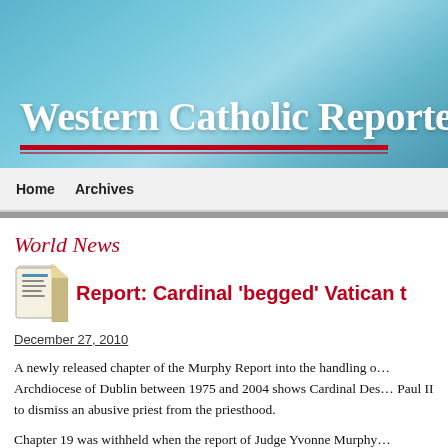Western Catholic Reporter
Home  Archives
World News
Report: Cardinal 'begged' Vatican t…
December 27, 2010
A newly released chapter of the Murphy Report into the handling of… Archdiocese of Dublin between 1975 and 2004 shows Cardinal Des… Paul II to dismiss an abusive priest from the priesthood.
Chapter 19 was withheld when the report of Judge Yvonne Murphy… November 2009 because the abuser involved — former priest Tony…